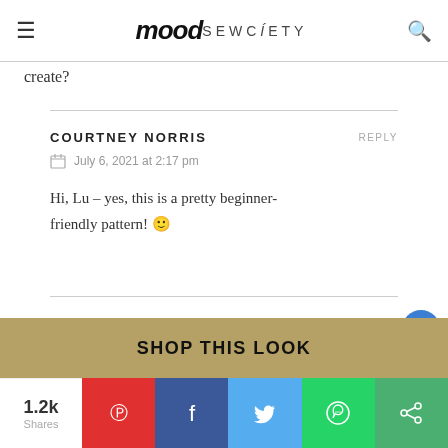mood SEWCIETY
create?
COURTNEY NORRIS
July 6, 2021 at 2:17 pm
Hi, Lu – yes, this is a pretty beginner-friendly pattern! 🙂
LEAVE A COMMENT
SHOP THIS LOOK
1.2k Shares